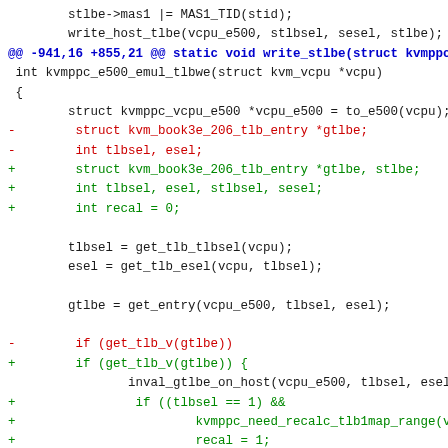Code diff showing changes to kvmppc_e500_emul_tlbwe function
[Figure (screenshot): Source code diff showing removal and addition of lines in a Linux KVM PowerPC e500 TLB emulation function. Shows context lines in black, removed lines in red prefixed with '-', added lines in green prefixed with '+', and a diff hunk header in blue.]